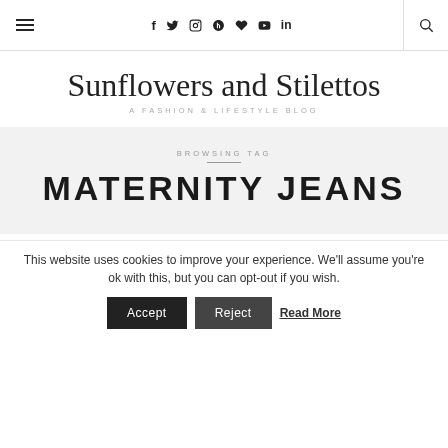Navigation bar with hamburger menu, social icons (f, Twitter, Instagram, Pinterest, heart, YouTube, LinkedIn), and search icon
Sunflowers and Stilettos — A FASHION & LIFESTYLE BLOG
BROWSING TAG — MATERNITY JEANS
This website uses cookies to improve your experience. We'll assume you're ok with this, but you can opt-out if you wish. Accept | Reject | Read More